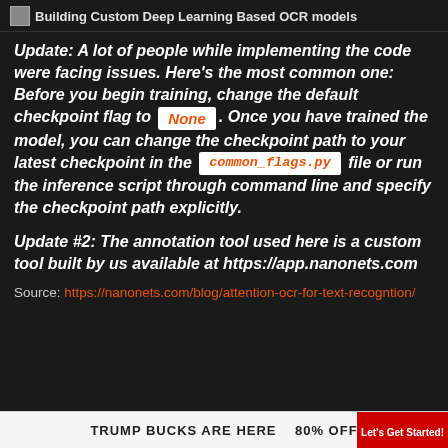Building Custom Deep Learning Based OCR models
Update: A lot of people while implementing the code were facing issues. Here's the most common one: Before you begin training, change the default checkpoint flag to None. Once you have trained the model, you can change the checkpoint path to your latest checkpoint in the common_flags.py file or run the inference script through command line and specify the checkpoint path explicitly.
Update #2: The annotation tool used here is a custom tool built by us available at https://app.nanonets.com
Source: https://nanonets.com/blog/attention-ocr-for-text-recogntion/
[Figure (other): Advertisement bar at the bottom: TRUMP BUCKS ARE HERE 80% OFF with a red badge on the right]